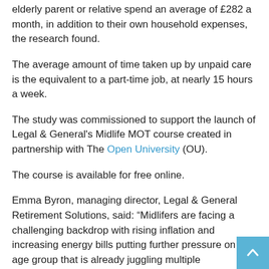elderly parent or relative spend an average of £282 a month, in addition to their own household expenses, the research found.
The average amount of time taken up by unpaid care is the equivalent to a part-time job, at nearly 15 hours a week.
The study was commissioned to support the launch of Legal & General's Midlife MOT course created in partnership with The Open University (OU).
The course is available for free online.
Emma Byron, managing director, Legal & General Retirement Solutions, said: “Midlifers are facing a challenging backdrop with rising inflation and increasing energy bills putting further pressure on an age group that is already juggling multiple headwinds.”